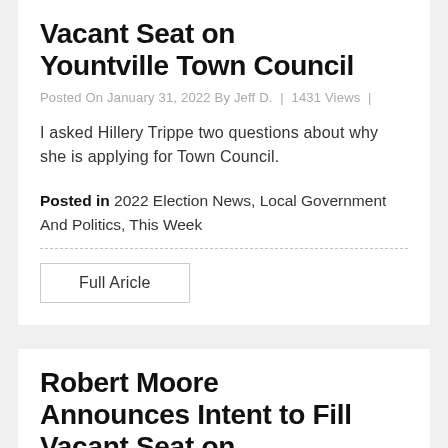Vacant Seat on Yountville Town Council
Posted On January 31, 2022 By Jeff D.  |  1431 Views  |
I asked Hillery Trippe two questions about why she is applying for Town Council.
Posted in 2022 Election News, Local Government And Politics, This Week
Full Aricle
Robert Moore Announces Intent to Fill Vacant Seat on